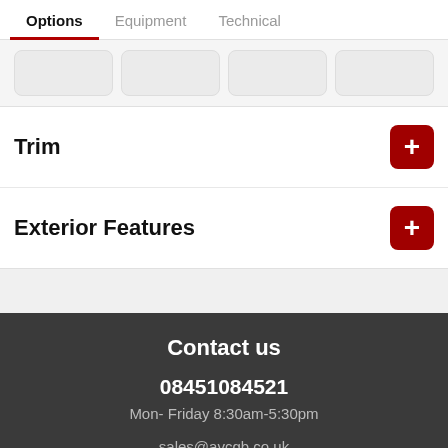Options | Equipment | Technical
Trim
Exterior Features
Contact us
08451084521
Mon- Friday 8:30am-5:30pm
sales@avcgb.co.uk